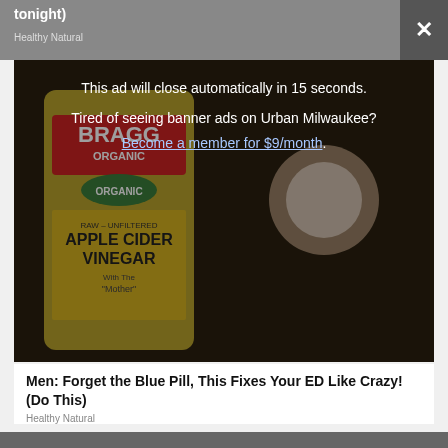tonight)
[Figure (photo): A Bragg Organic Apple Cider Vinegar bottle being opened, with an overlay ad reading 'This ad will close automatically in 15 seconds. Tired of seeing banner ads on Urban Milwaukee? Become a member for $9/month.']
This ad will close automatically in 15 seconds.
Tired of seeing banner ads on Urban Milwaukee?
Become a member for $9/month.
Men: Forget the Blue Pill, This Fixes Your ED Like Crazy! (Do This)
Healthy Natural